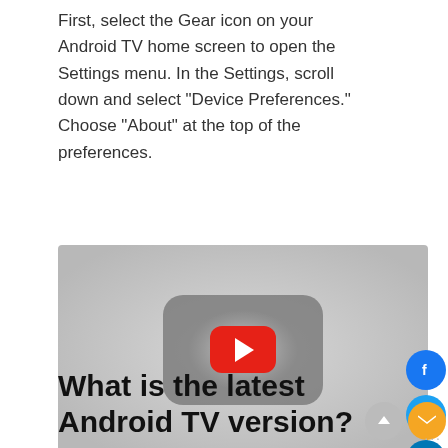First, select the Gear icon on your Android TV home screen to open the Settings menu. In the Settings, scroll down and select "Device Preferences." Choose "About" at the top of the preferences.
[Figure (screenshot): Embedded YouTube-style video thumbnail showing a YouTube player interface with a red play button centered on a gray background depicting an Android TV screen.]
What is the latest Android TV version?